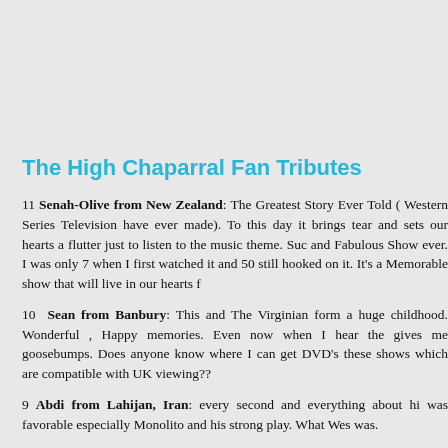The High Chaparral Fan Tributes
11 Senah-Olive from New Zealand: The Greatest Story Ever Told (Western Series Television have ever made). To this day it brings tears and sets our hearts a flutter just to listen to the music theme. Such and Fabulous Show ever. I was only 7 when I first watched it and 50 still hooked on it. It's a Memorable show that will live in our hearts f
10 Sean from Banbury: This and The Virginian form a huge childhood. Wonderful , Happy memories. Even now when I hear the gives me goosebumps. Does anyone know where I can get DVD's these shows which are compatible with UK viewing??
9 Abdi from Lahijan, Iran: every second and everything about hi was favorable especially Monolito and his strong play. What Wes was.
8 steven dwyer from co.waterford rep of ireland: when i was abor